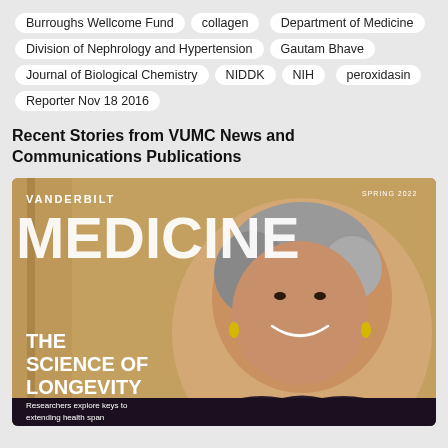Burroughs Wellcome Fund
collagen
Department of Medicine
Division of Nephrology and Hypertension
Gautam Bhave
Journal of Biological Chemistry
NIDDK
NIH
peroxidasin
Reporter Nov 18 2016
Recent Stories from VUMC News and Communications Publications
[Figure (photo): Cover of Vanderbilt Medicine magazine, Spring 2022 issue. Features a smiling older Black woman with gray hair. Title reads VANDERBILT MEDICINE in large white text. Headline: THE SCIENCE OF LONGEVITY. Subheading: Researchers explore keys to extending health span.]